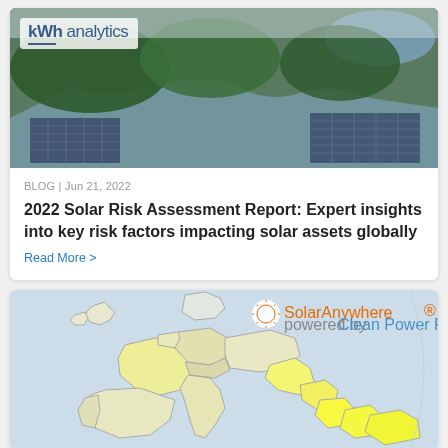[Figure (photo): Aerial photograph of solar panels in a forested landscape with a river and lake in the background, with kWh analytics logo overlay]
BLOG | Jun 21, 2022
2022 Solar Risk Assessment Report: Expert insights into key risk factors impacting solar assets globally
Read More >
[Figure (map): Map of Europe showing solar irradiance or solar resource data with yellow/green heat map overlay, SolarAnywhere logo powered by Clean Power Research in top right corner]